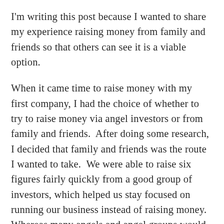I'm writing this post because I wanted to share my experience raising money from family and friends so that others can see it is a viable option.
When it came time to raise money with my first company, I had the choice of whether to try to raise money via angel investors or from family and friends.  After doing some research, I decided that family and friends was the route I wanted to take.  We were able to raise six figures fairly quickly from a good group of investors, which helped us stay focused on running our business instead of raising money.  Whereas many angels and angel groups would have wanted to get to know us for 3-6+ months, we were able to close our round in about 6 weeks.